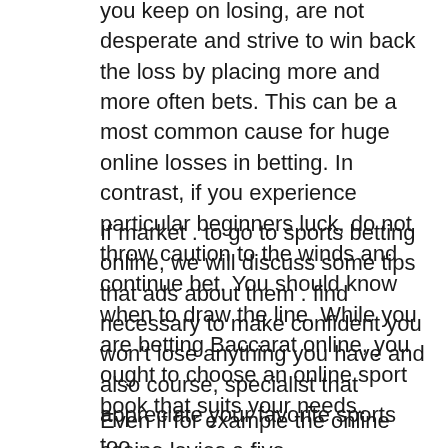you keep on losing, are not desperate and strive to win back the loss by placing more and more often bets. This can be a most common cause for huge online losses in betting. In contrast, if you experience particular beginners luck, do not throw caution to the winds and continue bet. You should know when to draw the line. While you are betting Baccarat online, you ought to choose an online sport book that suits your needs.
If market . to go to sports betting online, we will discuss some tips that ads about them . find necessary to make confident you won't lose anything you have and also course, specialist that appreciate your favorite sports too.
Even if for example the online casino levies a five